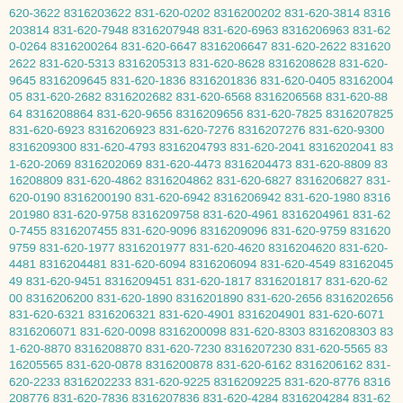620-3622 8316203622 831-620-0202 8316200202 831-620-3814 8316203814 831-620-7948 8316207948 831-620-6963 8316206963 831-620-0264 8316200264 831-620-6647 8316206647 831-620-2622 8316202622 831-620-5313 8316205313 831-620-8628 8316208628 831-620-9645 8316209645 831-620-1836 8316201836 831-620-0405 8316200405 831-620-2682 8316202682 831-620-6568 8316206568 831-620-8864 8316208864 831-620-9656 8316209656 831-620-7825 8316207825 831-620-6923 8316206923 831-620-7276 8316207276 831-620-9300 8316209300 831-620-4793 8316204793 831-620-2041 8316202041 831-620-2069 8316202069 831-620-4473 8316204473 831-620-8809 8316208809 831-620-4862 8316204862 831-620-6827 8316206827 831-620-0190 8316200190 831-620-6942 8316206942 831-620-1980 8316201980 831-620-9758 8316209758 831-620-4961 8316204961 831-620-7455 8316207455 831-620-9096 8316209096 831-620-9759 8316209759 831-620-1977 8316201977 831-620-4620 8316204620 831-620-4481 8316204481 831-620-6094 8316206094 831-620-4549 8316204549 831-620-9451 8316209451 831-620-1817 8316201817 831-620-6200 8316206200 831-620-1890 8316201890 831-620-2656 8316202656 831-620-6321 8316206321 831-620-4901 8316204901 831-620-6071 8316206071 831-620-0098 8316200098 831-620-8303 8316208303 831-620-8870 8316208870 831-620-7230 8316207230 831-620-5565 8316205565 831-620-0878 8316200878 831-620-6162 8316206162 831-620-2233 8316202233 831-620-9225 8316209225 831-620-8776 8316208776 831-620-7836 8316207836 831-620-4284 8316204284 831-620-9982 8316209982 831-620-7188 8316207188 831-620-4638 8316204638 831-620-5077 8316205077 831-620-6866 8316206866 831-620-8134 8316208134 831-620-1194